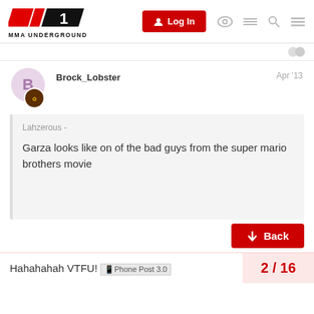MMA UNDERGROUND — Log In navigation header
Brock_Lobster   Apr '13
Lahzerous -

Garza looks like on of the bad guys from the super mario brothers movie
Hahahahah VTFU! Phone Post 3.0
2 / 16